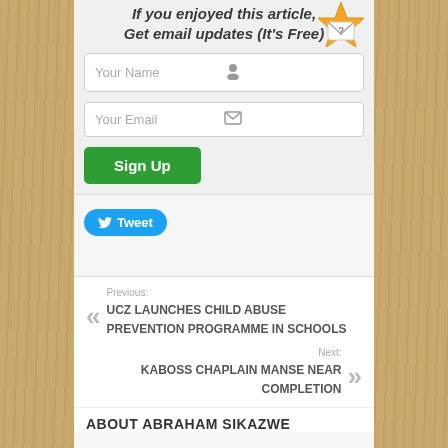If you enjoyed this article, Get email updates (It's Free)
Your Name
Your Email
Sign Up
Tweet
Previous: UCZ LAUNCHES CHILD ABUSE PREVENTION PROGRAMME IN SCHOOLS
Next: KABOSS CHAPLAIN MANSE NEAR COMPLETION
ABOUT ABRAHAM SIKAZWE